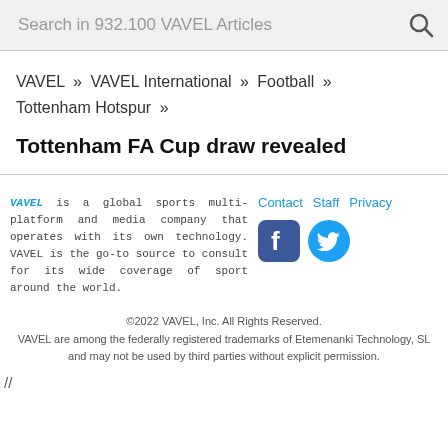Search in 932.100 VAVEL Articles
VAVEL » VAVEL International » Football » Tottenham Hotspur »
Tottenham FA Cup draw revealed
VAVEL is a global sports multi-platform and media company that operates with its own technology. VAVEL is the go-to source to consult for its wide coverage of sport around the world.
Contact   Staff   Privacy
©2022 VAVEL, Inc. All Rights Reserved. VAVEL are among the federally registered trademarks of Etemenanki Technology, SL and may not be used by third parties without explicit permission.
//